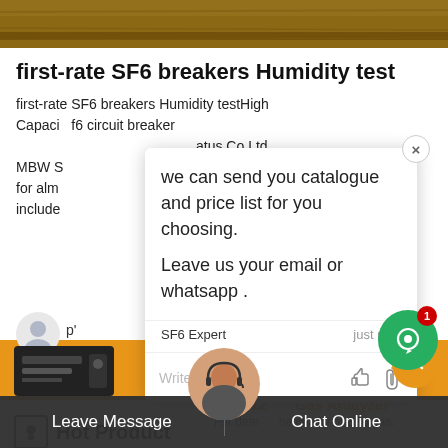[Figure (photo): Top image strip showing a brown/wood texture background]
first-rate SF6 breakers Humidity test
first-rate SF6 breakers Humidity testHigh Capaci f6 circuit breaker atus Co Ltd . MBW S s application for almo strument to include cedure. They
[Figure (screenshot): Chat popup overlay with message: we can send you catalogue and price list for you choosing. Leave us your email or whatsapp . From SF6 Expert, just now. Includes reply text box with Write a reply.. placeholder and thumbs up and paperclip icons.]
Hot Product
RA912 Gas Analyzer
For determine the quality of SF6 gas.
[Figure (photo): Product image bottom left - dark colored instrument/analyzer device]
[Figure (photo): Person with headset customer service agent photo in circle, centered at bottom]
Leave Message  Chat Online